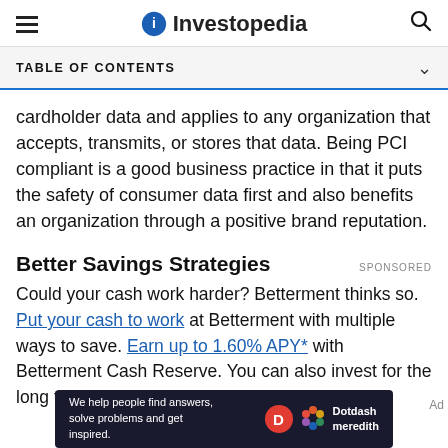Investopedia
TABLE OF CONTENTS
cardholder data and applies to any organization that accepts, transmits, or stores that data. Being PCI compliant is a good business practice in that it puts the safety of consumer data first and also benefits an organization through a positive brand reputation.
Better Savings Strategies
Could your cash work harder? Betterment thinks so. Put your cash to work at Betterment with multiple ways to save. Earn up to 1.60% APY* with Betterment Cash Reserve. You can also invest for the long term
[Figure (logo): Dotdash Meredith footer banner with text: We help people find answers, solve problems and get inspired.]